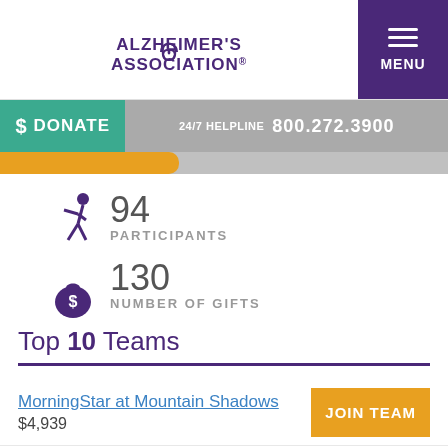[Figure (logo): Alzheimer's Association logo with brain icon]
MENU
$ DONATE
24/7 HELPLINE  800.272.3900
94 PARTICIPANTS
130 NUMBER OF GIFTS
Top 10 Teams
MorningStar at Mountain Shadows
$4,939
MorningStar at Jordan Creek